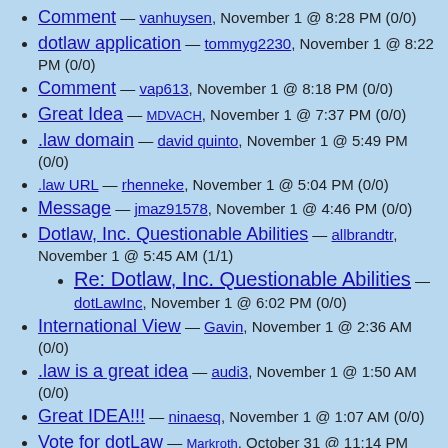Comment — vanhuysen, November 1 @ 8:28 PM (0/0)
dotlaw application — tommyg2230, November 1 @ 8:22 PM (0/0)
Comment — vap613, November 1 @ 8:18 PM (0/0)
Great Idea — MDVACH, November 1 @ 7:37 PM (0/0)
.law domain — david quinto, November 1 @ 5:49 PM (0/0)
.law URL — rhenneke, November 1 @ 5:04 PM (0/0)
Message — jmaz91578, November 1 @ 4:46 PM (0/0)
Dotlaw, Inc. Questionable Abilities — allbrandtr, November 1 @ 5:45 AM (1/1)
Re: Dotlaw, Inc. Questionable Abilities — dotLawInc, November 1 @ 6:02 PM (0/0)
International View — Gavin, November 1 @ 2:36 AM (0/0)
.law is a great idea — audi3, November 1 @ 1:50 AM (0/0)
Great IDEA!!! — ninaesq, November 1 @ 1:07 AM (0/0)
Vote for dotLaw — Markroth, October 31 @ 11:14 PM (0/0)
Vote for DotLaw — linden, October 31 @ 10:12 PM (0/0)
Comment — Jim1, October 31 @ 10:12 PM (0/0)
Very Helpful — kevinfl, October 31 @ 9:41 PM (0/0)
.law domain — gm1, October 31 @ 9:34 PM (0/0)
dotLaw TLD — Segman, October 31 @ 8:23 PM (0/0)
Reaction — storz, October 31 @ 7:51 PM (0/0)